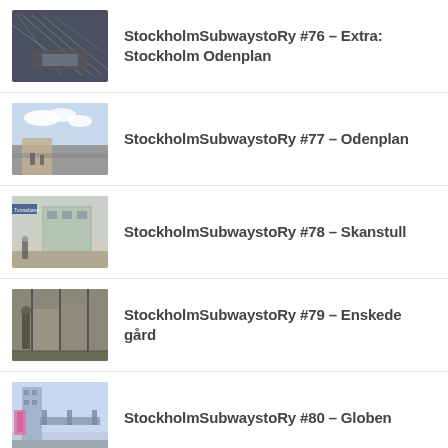StockholmSubwaystoRy #76 – Extra: Stockholm Odenplan
StockholmSubwaystoRy #77 – Odenplan
StockholmSubwaystoRy #78 – Skanstull
StockholmSubwaystoRy #79 – Enskede gård
StockholmSubwaystoRy #80 – Globen
StockholmSubwaystoRy #81 – Extra: